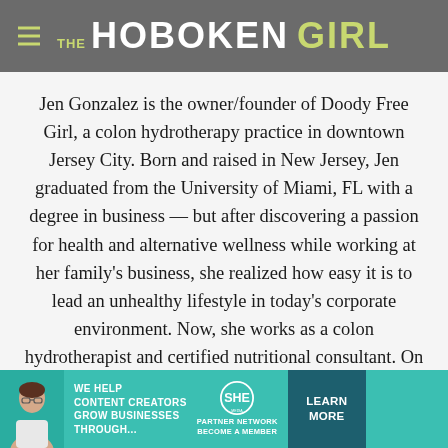THE HOBOKEN GIRL
Jen Gonzalez is the owner/founder of Doody Free Girl, a colon hydrotherapy practice in downtown Jersey City. Born and raised in New Jersey, Jen graduated from the University of Miami, FL with a degree in business — but after discovering a passion for health and alternative wellness while working at her family's business, she realized how easy it is to lead an unhealthy lifestyle in today's corporate environment. Now, she works as a colon hydrotherapist and certified nutritional consultant. On Hoboken Girl, she'll be sharing all of the cool
[Figure (infographic): Advertisement banner: SHE Media Partner Network - We help content creators grow businesses through... Learn More button]